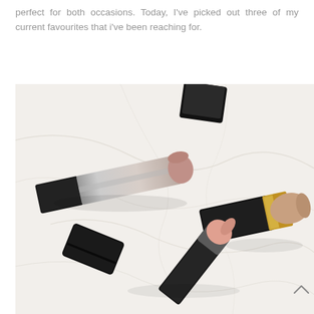perfect for both occasions. Today, I've picked out three of my current favourites that i've been reaching for.
[Figure (photo): Flat lay photograph of three lipsticks on a white marble surface. One MAC lipstick with silver casing and mauve-pink bullet (open, cap off to the side), one L'Oreal Collection Exclusive lipstick with gold and black casing and nude bullet (standing upright), and one smaller black-cased lipstick with a coral-pink bullet lying open. A black cap from one of the lipsticks is also visible in the bottom left and a partial black cap at the top center.]